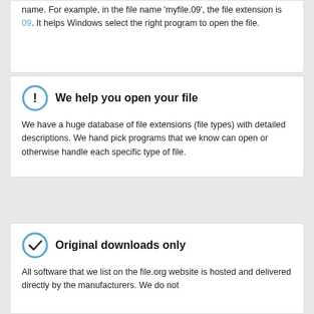name. For example, in the file name 'myfile.09', the file extension is 09. It helps Windows select the right program to open the file.
We help you open your file
We have a huge database of file extensions (file types) with detailed descriptions. We hand pick programs that we know can open or otherwise handle each specific type of file.
Original downloads only
All software that we list on the file.org website is hosted and delivered directly by the manufacturers. We do not